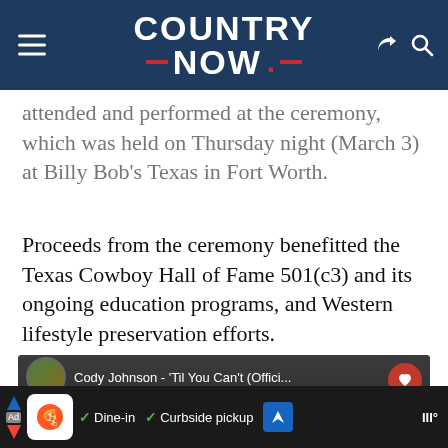COUNTRY NOW
attended and performed at the ceremony, which was held on Thursday night (March 3) at Billy Bob's Texas in Fort Worth.
Proceeds from the ceremony benefitted the Texas Cowboy Hall of Fame 501(c3) and its ongoing education programs, and Western lifestyle preservation efforts.
[Figure (screenshot): Embedded video player showing Cody Johnson - 'Til You Can't (Offici... with avatar thumbnail, heart and share buttons overlay on dark background with silhouette]
Ad: Dine-in  Curbside pickup